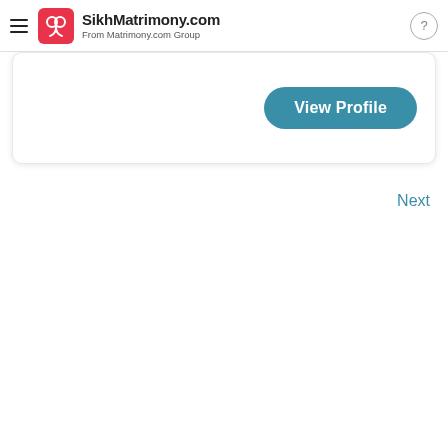SikhMatrimony.com From Matrimony.com Group
[Figure (screenshot): View Profile button inside a white card]
Next